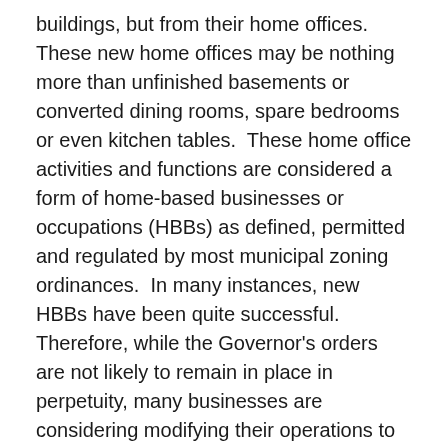buildings, but from their home offices.  These new home offices may be nothing more than unfinished basements or converted dining rooms, spare bedrooms or even kitchen tables.  These home office activities and functions are considered a form of home-based businesses or occupations (HBBs) as defined, permitted and regulated by most municipal zoning ordinances.  In many instances, new HBBs have been quite successful. Therefore, while the Governor's orders are not likely to remain in place in perpetuity, many businesses are considering modifying their operations to support increased use of HBBs even after the orders are lifted.
Many of the municipal HBB regulations were adopted several decades ago and may not reflect modern community planning, business or technology trends.  … Continue Reading